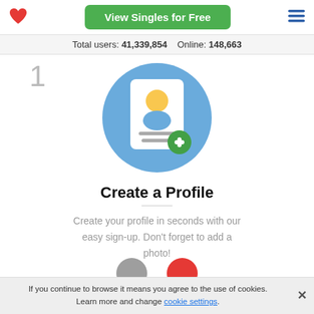[Figure (logo): Red heart logo icon]
View Singles for Free
[Figure (illustration): Hamburger menu icon (three horizontal blue lines)]
Total users: 41,339,854    Online: 148,663
1
[Figure (illustration): Blue circle with a white profile/document card icon and a green plus badge at bottom right]
Create a Profile
Create your profile in seconds with our easy sign-up. Don't forget to add a photo!
[Figure (illustration): Partial view of two circular icons at the bottom of the page (grey and red)]
If you continue to browse it means you agree to the use of cookies. Learn more and change cookie settings.